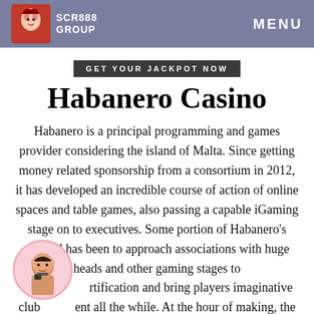SCR888 GROUP  MENU
GET YOUR JACKPOT NOW
Habanero Casino
Habanero is a principal programming and games provider considering the island of Malta. Since getting money related sponsorship from a consortium in 2012, it has developed an incredible course of action of online spaces and table games, also passing a capable iGaming stage on to executives. Some portion of Habanero's method has been to approach associations with huge heads and other gaming stages to expand certification and bring players imaginative club ent all the while. At the hour of making, the association has work environments in a couple of